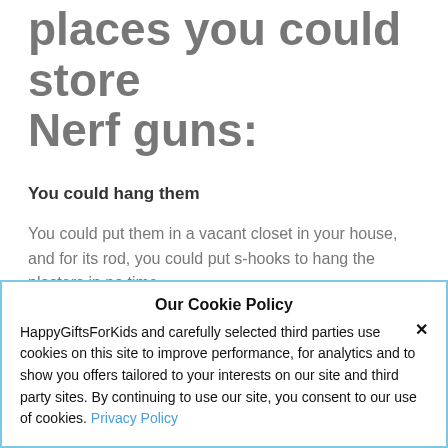places you could store Nerf guns:
You could hang them
You could put them in a vacant closet in your house, and for its rod, you could put s-hooks to hang the plasters in no time.
Our Cookie Policy
HappyGiftsForKids and carefully selected third parties use cookies on this site to improve performance, for analytics and to show you offers tailored to your interests on our site and third party sites. By continuing to use our site, you consent to our use of cookies. Privacy Policy